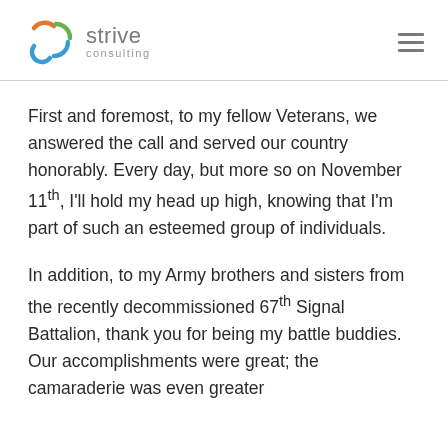Strive Consulting
First and foremost, to my fellow Veterans, we answered the call and served our country honorably. Every day, but more so on November 11th, I'll hold my head up high, knowing that I'm part of such an esteemed group of individuals.
In addition, to my Army brothers and sisters from the recently decommissioned 67th Signal Battalion, thank you for being my battle buddies. Our accomplishments were great; the camaraderie was even greater